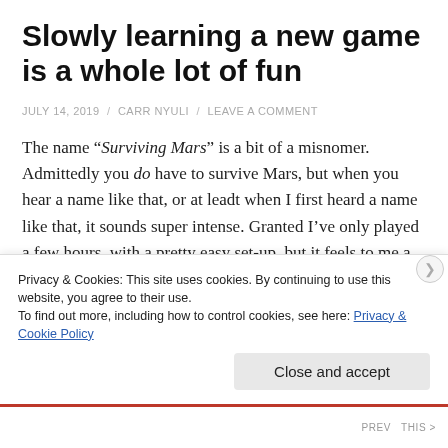Slowly learning a new game is a whole lot of fun
JULY 14, 2019 / CARR NYULI / LEAVE A COMMENT
The name “Surviving Mars” is a bit of a misnomer. Admittedly you do have to survive Mars, but when you hear a name like that, or at leadt when I first heard a name like that, it sounds super intense. Granted I’ve only played a few hours, with a pretty easy set-up, but it feels to me a lot more like Sim City Red or Cities: Marslines than the hardcore battle for the future of
Privacy & Cookies: This site uses cookies. By continuing to use this website, you agree to their use.
To find out more, including how to control cookies, see here: Privacy & Cookie Policy
Close and accept